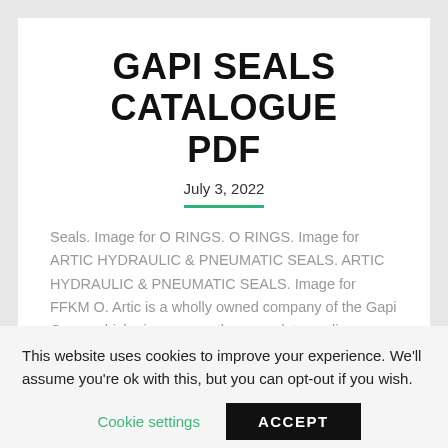GAPI SEALS CATALOGUE PDF
July 3, 2022
Seals. Image for O RINGS. O RINGS. Image for ARTIC HYDRAULIC & PNEUMATIC SEALS. ARTIC HYDRAULIC & PNEUMATIC SEALS. Image for FFKM O. Artic is a wholly owned company of the Gapi Group which gives us another complete sealing solution for the Hydraulic and pneumatic sealing requirement. The RPS...
This website uses cookies to improve your experience. We'll assume you're ok with this, but you can opt-out if you wish.
Cookie settings
ACCEPT